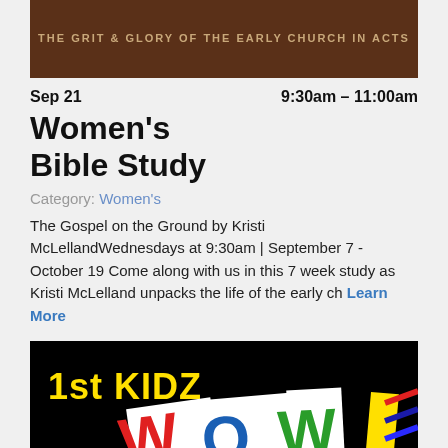[Figure (photo): Brown/dark background image with text 'THE GRIT & GLORY OF THE EARLY CHURCH IN ACTS' in uppercase letters]
Sep 21    9:30am – 11:00am
Women's Bible Study
Category: Women's
The Gospel on the Ground by Kristi McLellandWednesdays at 9:30am | September 7 - October 19 Come along with us in this 7 week study as Kristi McLelland unpacks the life of the early ch Learn More
[Figure (illustration): 1st KIDZ WOW! colorful logo on black background with bold letters in red, blue, green, yellow colors]